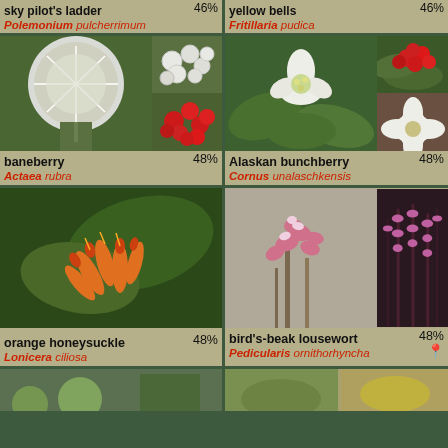[Figure (photo): Top strip: left cell shows sky pilot (Polemonium pulcherrimum) partial label, right cell shows yellow bells (Fritillaria pudica) partial label]
[Figure (photo): Baneberry (Actaea rubra) - left mosaic of two photos showing white fluffy flower and white/red berries]
baneberry 48% Actaea rubra
[Figure (photo): Alaskan bunchberry (Cornus unalaschkensis) - right mosaic of three photos showing white flowers and red berries]
Alaskan bunchberry 48% Cornus unalaschkensis
[Figure (photo): Orange honeysuckle (Lonicera ciliosa) - single large photo of orange tubular flowers]
orange honeysuckle 48% Lonicera ciliosa
[Figure (photo): Bird's-beak lousewort (Pedicularis ornithorhyncha) - two photos showing pink flowers]
bird's-beak lousewort 48% Pedicularis ornithorhyncha
[Figure (photo): Bottom row partial - two more plant species partially visible]